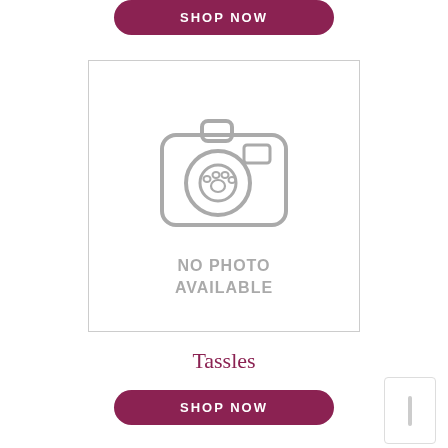SHOP NOW
[Figure (illustration): Camera icon placeholder with paw print and text 'NO PHOTO AVAILABLE']
Tassles
SHOP NOW